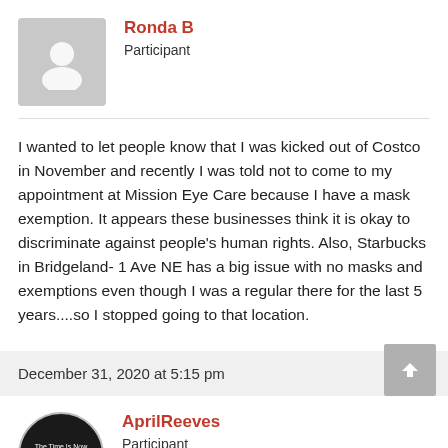Ronda B
Participant
I wanted to let people know that I was kicked out of Costco in November and recently I was told not to come to my appointment at Mission Eye Care because I have a mask exemption. It appears these businesses think it is okay to discriminate against people's human rights. Also, Starbucks in Bridgeland- 1 Ave NE has a big issue with no masks and exemptions even though I was a regular there for the last 5 years....so I stopped going to that location.
December 31, 2020 at 5:15 pm   #1894
AprilReeves
Participant
Innisfail: The Coffee Cottage. Won't say a word if you